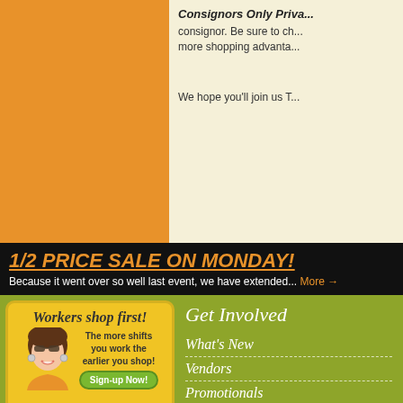[Figure (illustration): Orange rectangular box filling the left side of the top section]
Consignors Only Priva... consignor. Be sure to ch... more shopping advanta...
We hope you'll join us T...
1/2 PRICE SALE ON MONDAY!
Because it went over so well last event, we have extended... More →
[Figure (illustration): Workers shop first! promotional image with cartoon woman saying The more shifts you work the earlier you shop! with a Sign-up Now! button]
Get Involved
What's New
Vendors
Promotionals